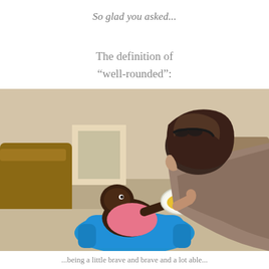So glad you asked…
The definition of
"well-rounded":
[Figure (photo): A woman with dark hair leans over a young baby/toddler sitting in a blue baby seat. The woman is offering the child a plate/bowl with yellow food (corn). The room has a couch and furniture visible in the background.]
...being a little brave and brave and a lot able...